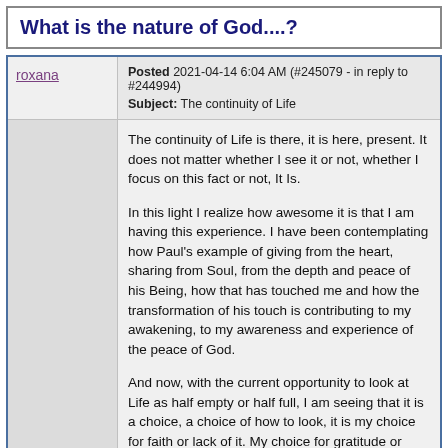What is the nature of God....?
Posted 2021-04-14 6:04 AM (#245079 - in reply to #244994)
Subject: The continuity of Life
The continuity of Life is there, it is here, present.  It does not matter whether I see it or not, whether I focus on this fact or not, It Is.

In this light I realize how awesome it is that I am having this experience. I have been contemplating how Paul's example of giving from the heart, sharing from Soul, from the depth and peace of his Being, how that has touched me and how the transformation of his touch is contributing to my awakening, to my awareness and experience of the peace of God.

And now, with the current opportunity to look at Life as half empty or half full, I am seeing that it is a choice, a choice of how to look, it is my choice for faith or lack of it.  My choice for gratitude or despair.

And you know what? The most amazing